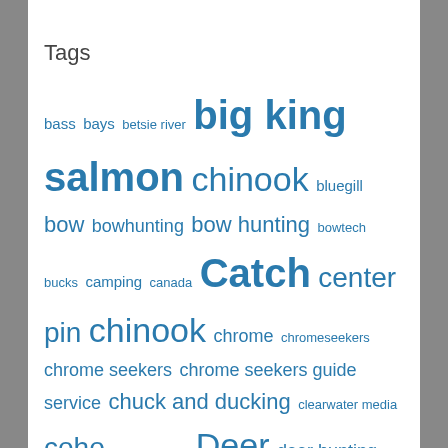Tags
bass bays betsie river big king salmon chinook bluegill bow bowhunting bow hunting bowtech bucks camping canada Catch center pin chinook chrome chromeseekers chrome seekers chrome seekers guide service chuck and ducking clearwater media coho d5100 death Deer deer hunting Fishing fly fly fishing Go Pro great lakes great lakes edge hunting king lake lake huron lake michigan lake st. clair lapse life michigan michigan deer hunting michigan fishing michigan hunting michigan rivers michigan whitetail muskegon muskegon river Muskie nature nikon north west outdoors pere marquette photo graphics special